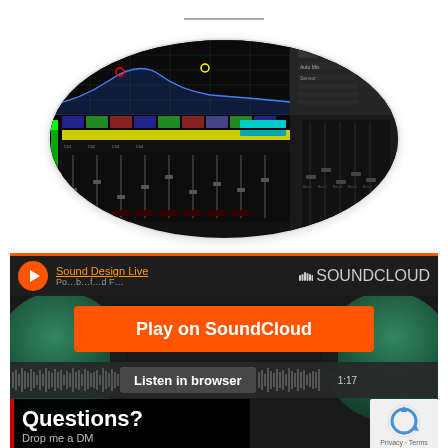[Figure (screenshot): Oval-shaped screenshot of a digital audio workstation (DAW) mixer interface with multiple channel strips, faders, EQ curves, and metering displays on a dark background.]
[Figure (screenshot): SoundCloud embedded player widget showing 'Sound Design Live' artist link, a play button, 'Play on SoundCloud' orange button, 'Listen in browser' bar with waveform, timestamp '1:17', and a 'Questions? Drop me a DM' overlay in the bottom-left corner. A reCAPTCHA badge appears in the bottom-right.]